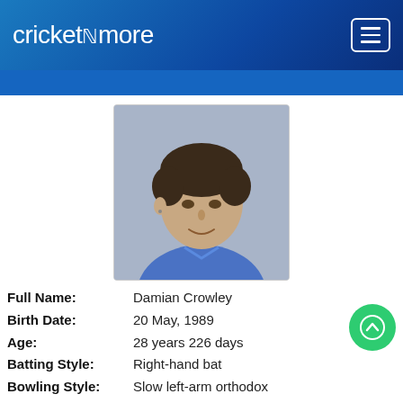cricketnmore
[Figure (photo): Headshot photo of Damian Crowley, a young man with short dark hair wearing a blue shirt, against a grey background]
Full Name: Damian Crowley
Birth Date: 20 May, 1989
Age: 28 years 226 days
Batting Style: Right-hand bat
Bowling Style: Slow left-arm orthodox
Teams: Italy